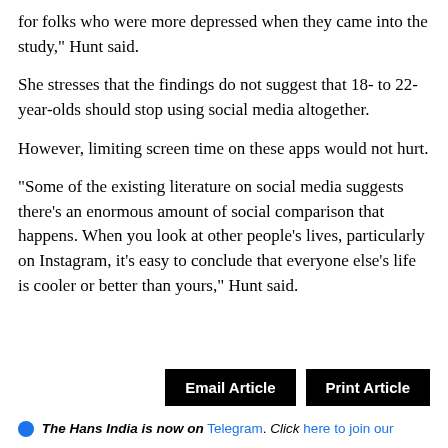for folks who were more depressed when they came into the study," Hunt said.
She stresses that the findings do not suggest that 18- to 22-year-olds should stop using social media altogether.
However, limiting screen time on these apps would not hurt.
"Some of the existing literature on social media suggests there's an enormous amount of social comparison that happens. When you look at other people's lives, particularly on Instagram, it's easy to conclude that everyone else's life is cooler or better than yours," Hunt said.
Email Article   Print Article
The Hans India is now on Telegram. Click here to join our